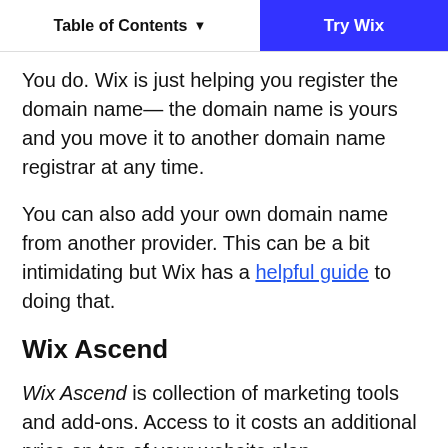Table of Contents ▾  |  Try Wix
You do. Wix is just helping you register the domain name— the domain name is yours and you move it to another domain name registrar at any time.
You can also add your own domain name from another provider. This can be a bit intimidating but Wix has a helpful guide to doing that.
Wix Ascend
Wix Ascend is collection of marketing tools and add-ons. Access to it costs an additional price on top of your website plan.